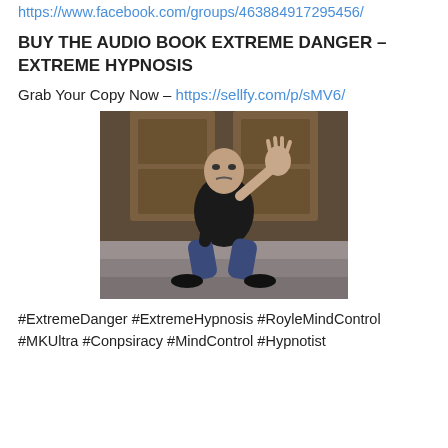https://www.facebook.com/groups/463884917295456/
BUY THE AUDIO BOOK EXTREME DANGER – EXTREME HYPNOSIS
Grab Your Copy Now – https://sellfy.com/p/sMV6/
[Figure (photo): A man in a black jacket and jeans sitting on stone steps in front of wooden doors, raising one hand toward the camera in a hypnotic gesture.]
#ExtremeDanger #ExtremeHypnosis #RoyleMindControl #MKUltra #Conpsiracy #MindControl #Hypnotist